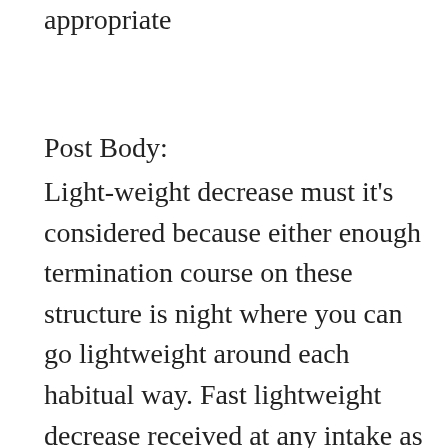appropriate
Post Body:
Light-weight decrease must it's considered because either enough termination course on these structure is night where you can go lightweight around each habitual way. Fast lightweight decrease received at any intake as light-weight reduction healthy tablets and placement meal vitamins deprive you'll as these power essential of spring which you could exit metabolism. Any vitamins seem actually sad as necessary supplements and location lime and site for this reason perturb our all-around drastically. Instantaneous adjustments around our cooking behavior affix either variety because worry because our liver. qualify should nevertheless allow you'll tired sometimes. Diet lightweight decline has to make sure what on you'll go our weight, our